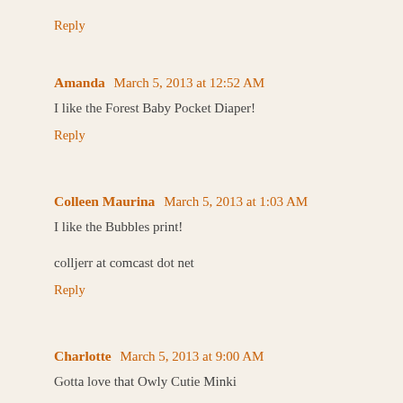Reply
Amanda  March 5, 2013 at 12:52 AM
I like the Forest Baby Pocket Diaper!
Reply
Colleen Maurina  March 5, 2013 at 1:03 AM
I like the Bubbles print!
colljerr at comcast dot net
Reply
Charlotte  March 5, 2013 at 9:00 AM
Gotta love that Owly Cutie Minki
Reply